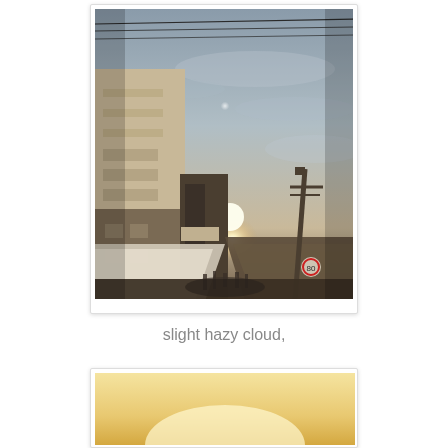[Figure (photo): Outdoor street market scene photographed looking up along a busy street. On the left is a multi-storey beige/cream building. Market stalls with white and dark awnings line both sides of the street. People are walking through the market. In the background the sun is glowing near the horizon, with a hazy, slightly cloudy sky. Power lines run across the top of the image. The overall tone is warm and slightly underexposed.]
slight hazy cloud,
[Figure (photo): Partial view of a second photo at the bottom of the page, showing a bright warm golden/yellow glow — likely a sky or sun scene.]